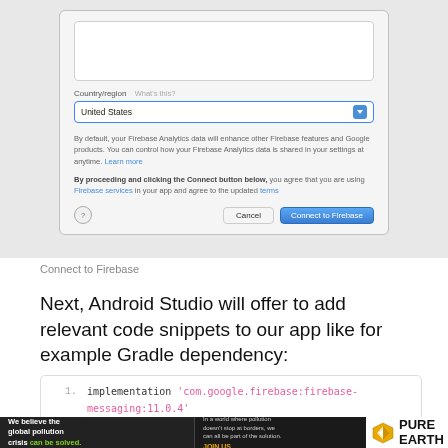[Figure (screenshot): macOS dialog box for connecting to Firebase. Shows a Country/region dropdown set to 'United States', a policy text about Firebase Analytics data sharing with a 'Learn more' link, an agreement text about Firebase services and terms, and buttons: help (?), Cancel, and Connect to Firebase.]
Connect to Firebase
Next, Android Studio will offer to add relevant code snippets to our app like for example Gradle dependency:
[Figure (screenshot): Code editor snippet showing line 1: implementation 'com.google.firebase:firebase-messaging:11.0.4']
[Figure (other): Ad banner: 'We believe the global pollution crisis can be solved.' with Pure Earth logo and supporting text about pollution crossing borders.]